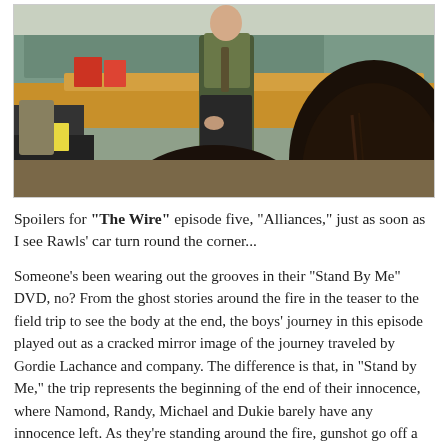[Figure (photo): Classroom scene: a teacher standing at the front leaning against a desk, with students seated in the foreground, their backs to the camera. A chalkboard is visible in the background.]
Spoilers for "The Wire" episode five, "Alliances," just as soon as I see Rawls' car turn round the corner...
Someone's been wearing out the grooves in their "Stand By Me" DVD, no? From the ghost stories around the fire in the teaser to the field trip to see the body at the end, the boys' journey in this episode played out as a cracked mirror image of the journey traveled by Gordie Lachance and company. The difference is that, in "Stand by Me," the trip represents the beginning of the end of their innocence, where Namond, Randy, Michael and Dukie barely have any innocence left. As they're standing around the fire, gunshot go off a few